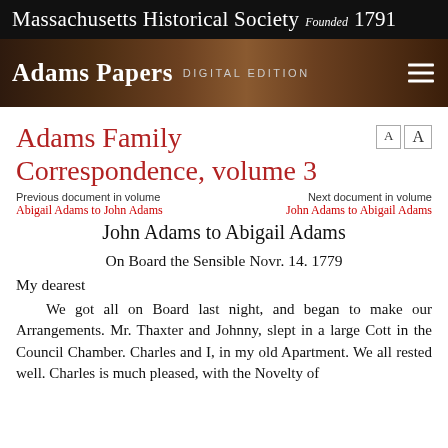Massachusetts Historical Society Founded 1791
[Figure (screenshot): Adams Papers Digital Edition banner with portrait background image and hamburger menu icon]
Adams Family Correspondence, volume 3
Previous document in volume
Abigail Adams to John Adams
Next document in volume
John Adams to Abigail Adams
John Adams to Abigail Adams
On Board the Sensible Novr. 14. 1779
My dearest
    We got all on Board last night, and began to make our Arrangements. Mr. Thaxter and Johnny, slept in a large Cott in the Council Chamber. Charles and I, in my old Apartment. We all rested well. Charles is much pleased, with the Novelty of